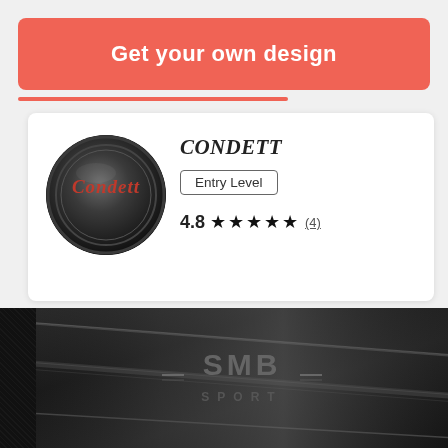Get your own design
[Figure (logo): Condett circular logo badge — dark metallic disc with red cursive 'Condett' script text on it]
CONDETT
Entry Level
4.8 ★★★★★ (4)
[Figure (photo): Close-up photo of a dark matte black automotive panel or sill plate with 'SMB SPORT' logo engraved/embossed in metallic grey lettering]